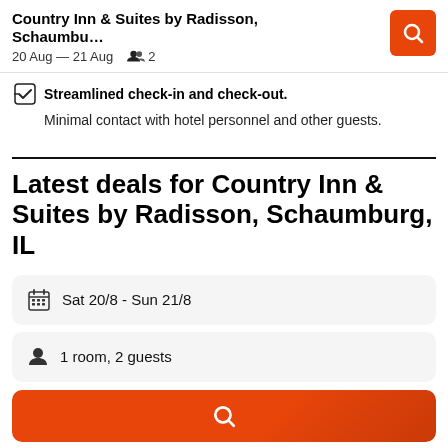Country Inn & Suites by Radisson, Schaumbu... | 20 Aug — 21 Aug | 2
Streamlined check-in and check-out.
Minimal contact with hotel personnel and other guests.
Latest deals for Country Inn & Suites by Radisson, Schaumburg, IL
Sat 20/8  -  Sun 21/8
1 room, 2 guests